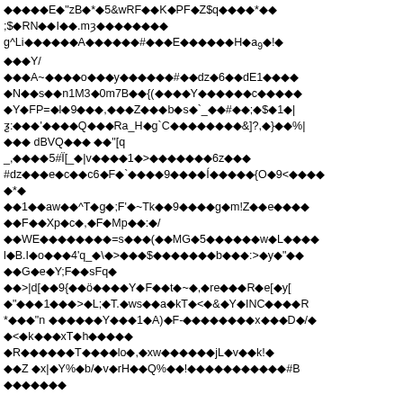◆◆◆◆◆E◆"zB◆*◆5&wRF◆◆K◆PF◆Z$q◆◆◆◆*◆◆
;$◆RN◆◆I◆◆.mȝ◆◆◆◆◆◆◆◆
g^Li◆◆◆◆◆◆A◆◆◆◆◆◆#◆◆◆E◆◆◆◆◆◆H◆a₉◆!◆
◆◆◆Y/
◆◆◆A~◆◆◆◆o◆◆◆y◆◆◆◆◆◆#◆◆dz◆6◆◆dE1◆◆◆◆
◆N◆◆s◆◆n1M3◆0m7B◆◆{(◆◆◆◆Y◆◆◆◆◆◆c◆◆◆◆◆
◆Y◆FP=◆l◆9◆◆◆,◆◆◆Z◆◆◆b◆s◆`_◆◆#◆◆;◆$◆1◆|
ƺ:◆◆◆'◆◆◆◆Q◆◆◆Ra_H◆g`C◆◆◆◆◆◆◆◆&]?,◆}◆◆%|
◆◆◆ dBVQ◆◆◆ ◆◆"[q
_,◆◆◆◆5#Ï[_◆|v◆◆◆◆1◆>◆◆◆◆◆◆◆6z◆◆◆
#dz◆◆◆e◆c◆◆c6◆F◆`◆◆◆◆9◆◆◆◆Í◆◆◆◆◆{O◆9<◆◆◆◆
◆*◆
◆◆1◆◆aw◆◆^T◆g◆;F'◆~Tk◆◆9◆◆◆◆g◆m!Z◆◆e◆◆◆◆
◆◆F◆◆Xp◆c◆,◆F◆Mp◆◆:◆/
◆◆WE◆◆◆◆◆◆◆◆=s◆◆◆(◆◆MG◆5◆◆◆◆◆◆w◆L◆◆◆◆
l◆B.I◆o◆◆◆4'q_◆\◆>◆◆◆$◆◆◆◆◆◆◆b◆◆◆:>◆y◆"◆◆
◆◆G◆e◆Y;F◆◆sFq◆
◆◆>|d[◆◆9{◆◆ö◆◆◆◆Y◆F◆◆t◆~◆,◆re◆◆◆R◆e[◆y[
◆"◆◆◆1◆◆◆>◆L;◆T.◆ws◆◆a◆kT◆<◆&◆Y◆INC◆◆◆◆R
*◆◆◆"n ◆◆◆◆◆◆Y◆◆◆1◆A)◆F-◆◆◆◆◆◆◆◆x◆◆◆D◆/◆
◆<◆k◆◆◆xT◆h◆◆◆◆◆
◆R◆◆◆◆◆◆T◆◆◆◆lo◆,◆xw◆◆◆◆◆◆jL◆v◆◆k!◆
◆◆Z ◆x|◆Y%◆b/◆v◆rH◆◆Q%◆◆!◆◆◆◆◆◆◆◆◆◆◆#B
◆◆◆◆◆◆◆